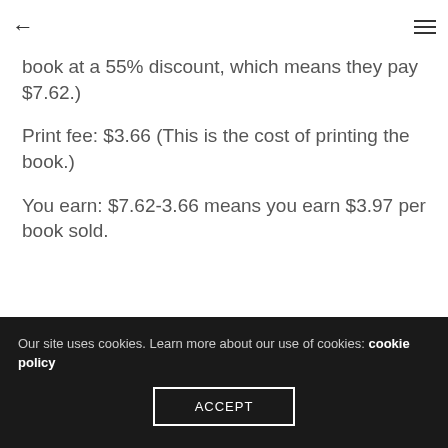← ≡
book at a 55% discount, which means they pay $7.62.)
Print fee: $3.66 (This is the cost of printing the book.)
You earn: $7.62-3.66 means you earn $3.97 per book sold.
Our site uses cookies. Learn more about our use of cookies: cookie policy
ACCEPT